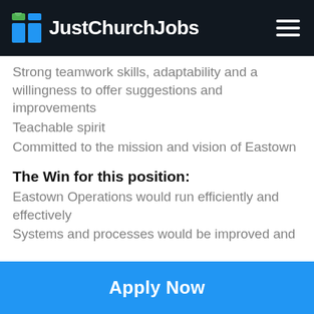JustChurchJobs
Strong teamwork skills, adaptability and a willingness to offer suggestions and improvements
Teachable spirit
Committed to the mission and vision of Eastown
The Win for this position:
Eastown Operations would run efficiently and effectively
Systems and processes would be improved and